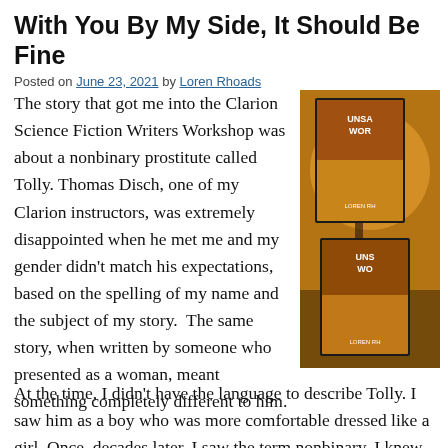With You By My Side, It Should Be Fine
Posted on June 23, 2021 by Loren Rhoads
The story that got me into the Clarion Science Fiction Writers Workshop was about a nonbinary prostitute called Tolly. Thomas Disch, one of my Clarion instructors, was extremely disappointed when he met me and my gender didn't match his expectations, based on the spelling of my name and the subject of my story.  The same story, when written by someone who presented as a woman, meant something completely different to him.
[Figure (photo): Two book covers for 'Unsanctioned Worlds' edited by Loren Rhoads, shown stacked against a warm golden/brown outdoor background]
At the time, I didn't have the language to describe Tolly. I saw him as a boy who was more comfortable dressed like a girl. Once, decades later, I saw the term nonbinary, I knew that was how Tolly woul